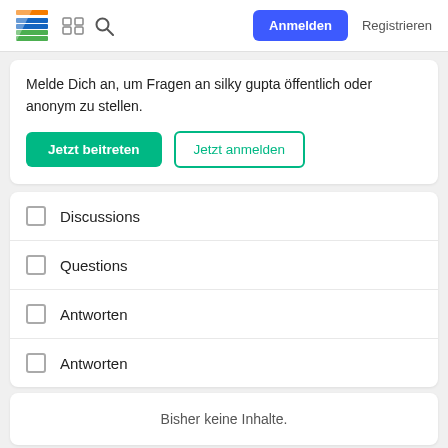Anmelden  Registrieren
Melde Dich an, um Fragen an silky gupta öffentlich oder anonym zu stellen.
Jetzt beitreten
Jetzt anmelden
Discussions
Questions
Antworten
Antworten
Bisher keine Inhalte.